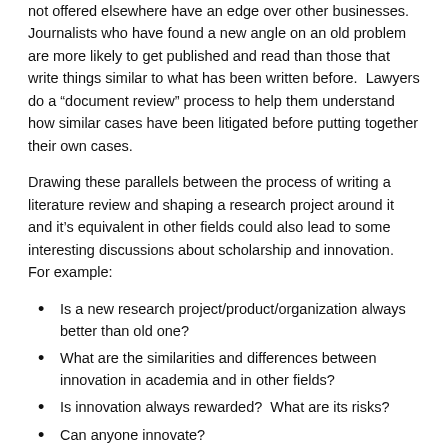not offered elsewhere have an edge over other businesses. Journalists who have found a new angle on an old problem are more likely to get published and read than those that write things similar to what has been written before. Lawyers do a “document review” process to help them understand how similar cases have been litigated before putting together their own cases.
Drawing these parallels between the process of writing a literature review and shaping a research project around it and it’s equivalent in other fields could also lead to some interesting discussions about scholarship and innovation. For example:
Is a new research project/product/organization always better than old one?
What are the similarities and differences between innovation in academia and in other fields?
Is innovation always rewarded? What are its risks?
Can anyone innovate?
Certainly innovation isn’t all about hard work. There’s a certain